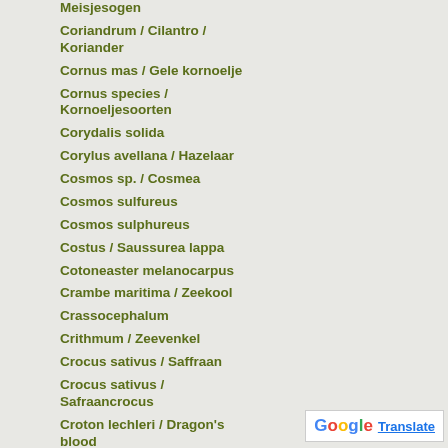Meisjesogen
Coriandrum / Cilantro / Koriander
Cornus mas / Gele kornoelje
Cornus species / Kornoeljesoorten
Corydalis solida
Corylus avellana / Hazelaar
Cosmos sp. / Cosmea
Cosmos sulfureus
Cosmos sulphureus
Costus / Saussurea lappa
Cotoneaster melanocarpus
Crambe maritima / Zeekool
Crassocephalum
Crithmum / Zeevenkel
Crocus sativus / Saffraan
Crocus sativus / Safraancrocus
Croton lechleri / Dragon's blood